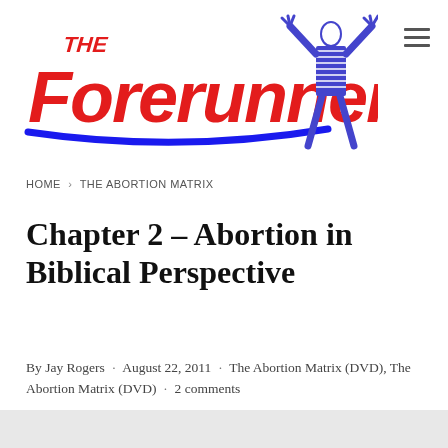[Figure (logo): The Forerunner logo in red graffiti-style text with blue underline, and a blue figure with raised arms on the right side]
HOME › THE ABORTION MATRIX
Chapter 2 – Abortion in Biblical Perspective
By Jay Rogers · August 22, 2011 · The Abortion Matrix (DVD), The Abortion Matrix (DVD) · 2 comments